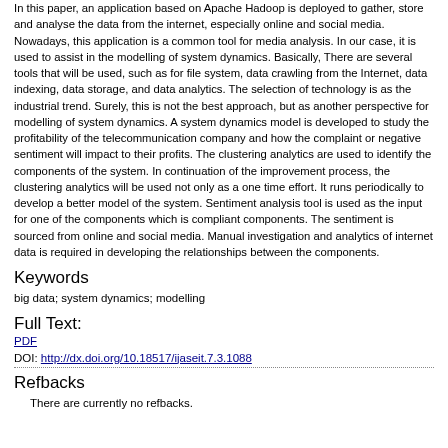In this paper, an application based on Apache Hadoop is deployed to gather, store and analyse the data from the internet, especially online and social media. Nowadays, this application is a common tool for media analysis. In our case, it is used to assist in the modelling of system dynamics. Basically, There are several tools that will be used, such as for file system, data crawling from the Internet, data indexing, data storage, and data analytics. The selection of technology is as the industrial trend. Surely, this is not the best approach, but as another perspective for modelling of system dynamics. A system dynamics model is developed to study the profitability of the telecommunication company and how the complaint or negative sentiment will impact to their profits. The clustering analytics are used to identify the components of the system. In continuation of the improvement process, the clustering analytics will be used not only as a one time effort. It runs periodically to develop a better model of the system. Sentiment analysis tool is used as the input for one of the components which is compliant components. The sentiment is sourced from online and social media. Manual investigation and analytics of internet data is required in developing the relationships between the components.
Keywords
big data; system dynamics; modelling
Full Text:
PDF
DOI: http://dx.doi.org/10.18517/ijaseit.7.3.1088
Refbacks
There are currently no refbacks.